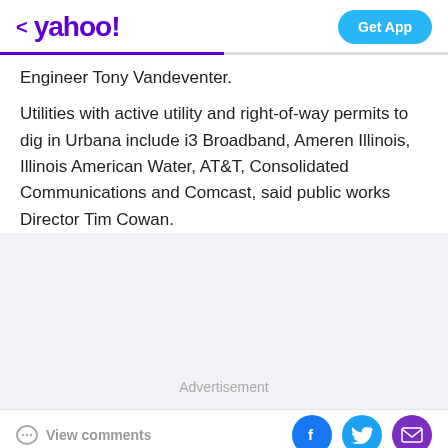< yahoo! | Get App
Engineer Tony Vandeventer.
Utilities with active utility and right-of-way permits to dig in Urbana include i3 Broadband, Ameren Illinois, Illinois American Water, AT&T, Consolidated Communications and Comcast, said public works Director Tim Cowan.
Advertisement
View comments